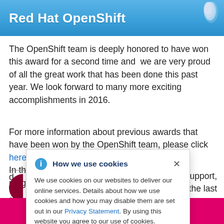Red Hat OpenShift
The OpenShift team is deeply honored to have won this award for a second time and we are very proud of all the great work that has been done this past year. We look forward to many more exciting accomplishments in 2016.
For more information about previous awards that have been won by the OpenShift team, please click here. In the spirit of celebrating this award and the magnificent d[...]g us support, w[...]in the last f[...]
[Figure (screenshot): Cookie consent popup overlay: 'How we use cookies' with info icon and close X. Text: We use cookies on our websites to deliver our online services. Details about how we use cookies and how you may disable them are set out in our Privacy Statement. By using this website you agree to our use of cookies.]
[Figure (other): 2015 Awards banner at bottom of page with magenta/pink background and star symbols]